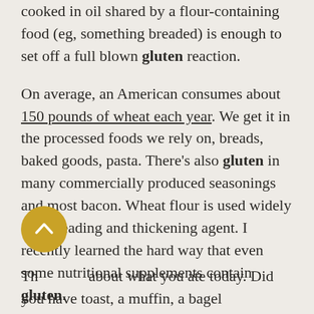cooked in oil shared by a flour-containing food (eg, something breaded) is enough to set off a full blown gluten reaction.
On average, an American consumes about 150 pounds of wheat each year. We get it in the processed foods we rely on, breads, baked goods, pasta. There's also gluten in many commercially produced seasonings and most bacon. Wheat flour is used widely as a breading and thickening agent. I recently learned the hard way that even some nutritional supplements contain gluten.
Think about what you ate today. Did you have toast, a muffin, a bagel